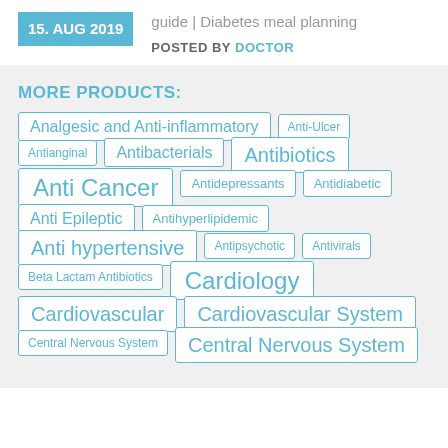guide | Diabetes meal planning
POSTED BY DOCTOR
MORE PRODUCTS:
Analgesic and Anti-inflammatory
Anti-Ulcer
Antianginal
Antibacterials
Antibiotics
Anti Cancer
Antidepressants
Antidiabetic
Anti Epileptic
Antihyperlipidemic
Anti hypertensive
Antipsychotic
Antivirals
Beta Lactam Antibiotics
Cardiology
Cardiovascular
Cardiovascular System
Central Nervous System
Central Nervous System